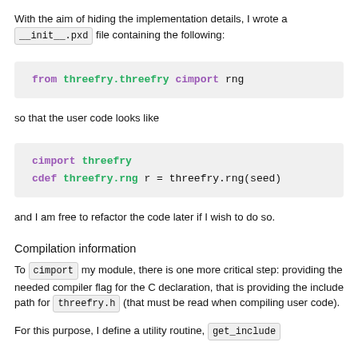With the aim of hiding the implementation details, I wrote a __init__.pxd file containing the following:
from threefry.threefry cimport rng
so that the user code looks like
cimport threefry
cdef threefry.rng r = threefry.rng(seed)
and I am free to refactor the code later if I wish to do so.
Compilation information
To cimport my module, there is one more critical step: providing the needed compiler flag for the C declaration, that is providing the include path for threefry.h (that must be read when compiling user code).
For this purpose, I define a utility routine, get_include